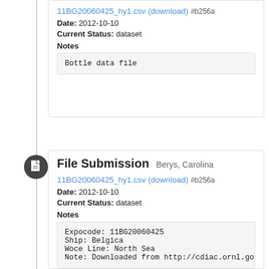11BG20060425_hy1.csv (download) #b256a
Date: 2012-10-10
Current Status: dataset
Notes
Bottle data file
File Submission Berys, Carolina
11BG20060425_hy1.csv (download) #b256a
Date: 2012-10-10
Current Status: dataset
Notes
Expocode: 11BG20060425
Ship: Belgica
Woce Line: North Sea
Note: Downloaded from http://cdiac.ornl.gov